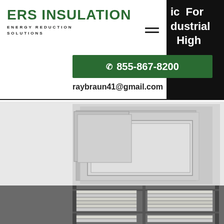ERS INSULATION
ENERGY REDUCTION SOLUTIONS
ic For
dustrial
High
☎ 855-867-8200
raybraun41@gmail.com
[Figure (photo): Stacked insulation panels and shelving units with industrial insulation products in a warehouse setting]